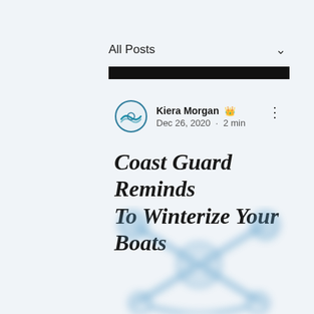All Posts
Kiera Morgan · Dec 26, 2020 · 2 min
Coast Guard Reminds To Winterize Your Boats
[Figure (illustration): Blurred blue Coast Guard or nautical emblem/logo at the bottom of the page]